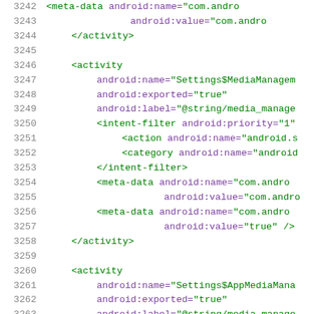Code listing lines 3242-3263, XML/Android manifest source code